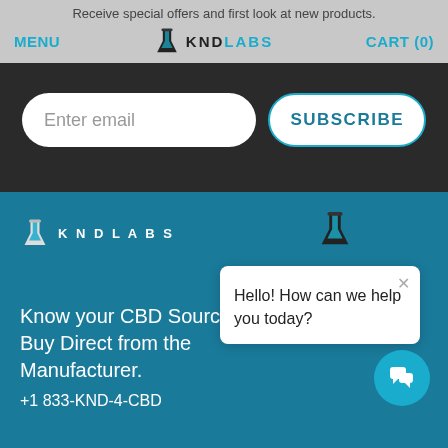Receive special offers and first look at new products.
MENU  KNDLABS  CART (0)
Enter email
SUBSCRIBE
[Figure (logo): KND Labs logo with flask icon in teal footer]
Hello! How can we help you today?
Know your CBD Source. Buy Direct from the Manufacturer.
+1 833-KND-4-CBD